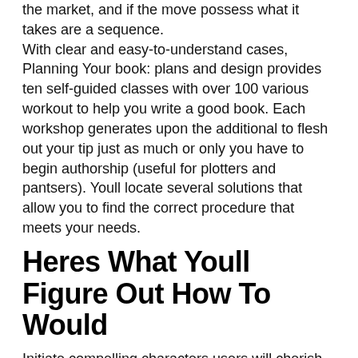the market, and if the move possess what it takes are a sequence.
With clear and easy-to-understand cases, Planning Your book: plans and design provides ten self-guided classes with over 100 various workout to help you write a good book. Each workshop generates upon the additional to flesh out your tip just as much or only you have to begin authorship (useful for plotters and pantsers). Youll locate several solutions that allow you to find the correct procedure that meets your needs.
Heres What Youll Figure Out How To Would
Initiate compelling characters users will cherish
Choose the right perspective for the journey
Identify the issues that may get your plot (and continue customers addicted!)
Get the best writing processes to suit your writing fashion
Come up with an excellent game from the spark of